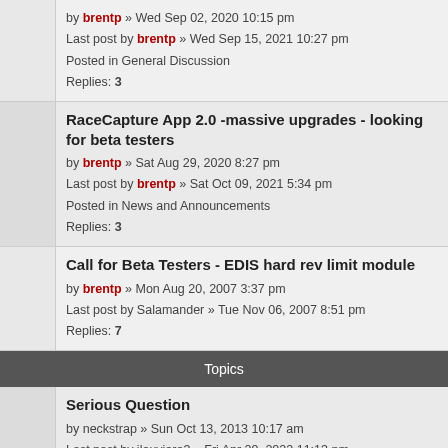by brentp » Wed Sep 02, 2020 10:15 pm
Last post by brentp » Wed Sep 15, 2021 10:27 pm
Posted in General Discussion
Replies: 3
RaceCapture App 2.0 -massive upgrades - looking for beta testers
by brentp » Sat Aug 29, 2020 8:27 pm
Last post by brentp » Sat Oct 09, 2021 5:34 pm
Posted in News and Announcements
Replies: 3
Call for Beta Testers - EDIS hard rev limit module
by brentp » Mon Aug 20, 2007 3:37 pm
Last post by Salamander » Tue Nov 06, 2007 8:51 pm
Replies: 7
Topics
Serious Question
by neckstrap » Sun Oct 13, 2013 10:17 am
Last post by jlouviere3 » Fri Apr 29, 2022 11:13 pm
Replies: 7
Hard cut wiring mk2